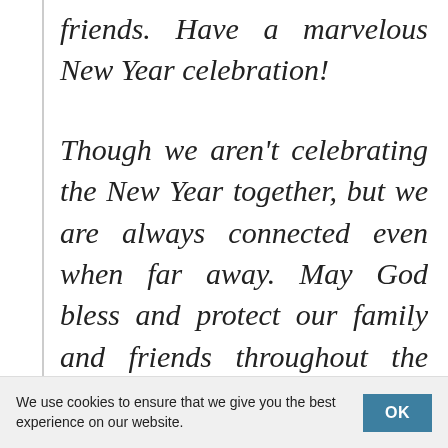friends. Have a marvelous New Year celebration!
Though we aren't celebrating the New Year together, but we are always connected even when far away. May God bless and protect our family and friends throughout the entire New Year. May we have the strength to forgive and forget
We use cookies to ensure that we give you the best experience on our website.